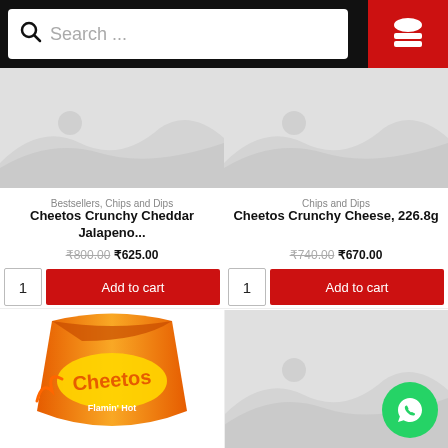[Figure (screenshot): Search bar with magnifying glass icon and placeholder text 'Search ...' on dark header, with red hamburger menu button on right]
[Figure (photo): Placeholder image for Cheetos Crunchy Cheddar Jalapeno product - grey landscape placeholder]
Bestsellers, Chips and Dips
Cheetos Crunchy Cheddar Jalapeno...
₹800.00 ₹625.00
1   Add to cart
[Figure (photo): Placeholder image for Cheetos Crunchy Cheese 226.8g product - grey landscape placeholder]
Chips and Dips
Cheetos Crunchy Cheese, 226.8g
₹740.00 ₹670.00
1   Add to cart
[Figure (photo): Cheetos Flamin Hot bag product photo - orange and red bag]
[Figure (photo): Grey placeholder image for second bottom product]